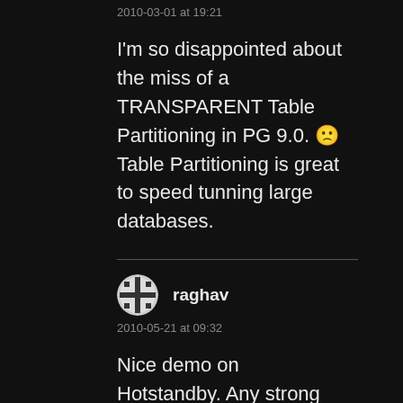2010-03-01 at 19:21
I'm so disappointed about the miss of a TRANSPARENT Table Partitioning in PG 9.0. 🙁 Table Partitioning is great to speed tunning large databases.
raghav
2010-05-21 at 09:32
Nice demo on Hotstandby. Any strong